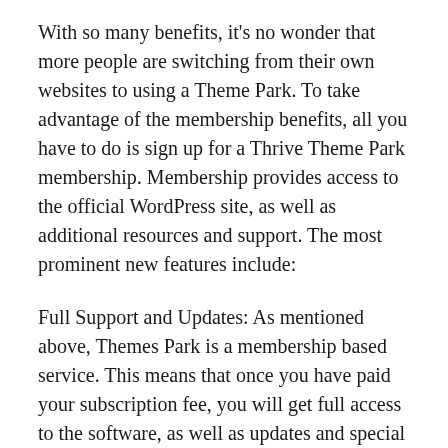With so many benefits, it's no wonder that more people are switching from their own websites to using a Theme Park. To take advantage of the membership benefits, all you have to do is sign up for a Thrive Theme Park membership. Membership provides access to the official WordPress site, as well as additional resources and support. The most prominent new features include:
Full Support and Updates: As mentioned above, Themes Park is a membership based service. This means that once you have paid your subscription fee, you will get full access to the software, as well as updates and special offers. No more will you be left in the dark. You will always be able to get full support when you need it.